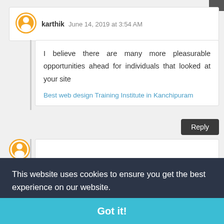karthik June 14, 2019 at 3:54 AM
I believe there are many more pleasurable opportunities ahead for individuals that looked at your site
Best web design Training Institute in Kanchipuram
Reply
This website uses cookies to ensure you get the best experience on our website.
Learn more
Got it!
Kanchipuram